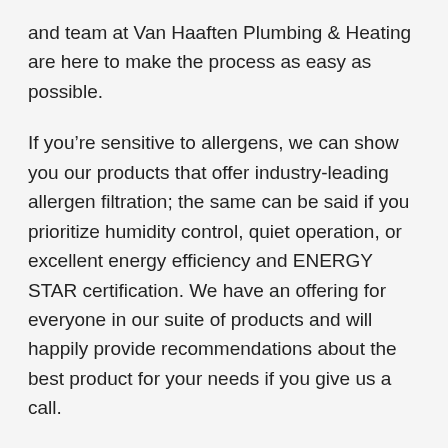and team at Van Haaften Plumbing & Heating are here to make the process as easy as possible.
If you're sensitive to allergens, we can show you our products that offer industry-leading allergen filtration; the same can be said if you prioritize humidity control, quiet operation, or excellent energy efficiency and ENERGY STAR certification. We have an offering for everyone in our suite of products and will happily provide recommendations about the best product for your needs if you give us a call.
From emergency service to a new AC unit to annual maintenance of your HVAC system, Van Haaften Plumbing & Heating Otley has the history and experience to meet a wide variety of